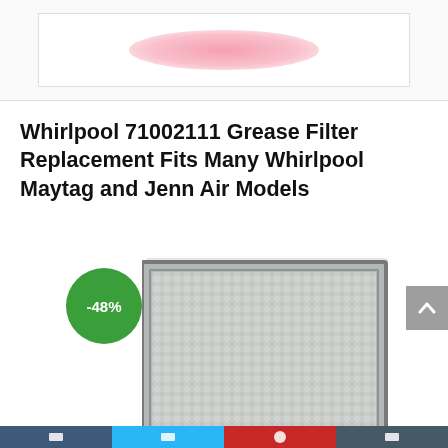[Figure (photo): Top section showing a partially visible product image area with a pink/rose colored elliptical logo or image against a white background, inside a bordered rectangle]
Whirlpool 71002111 Grease Filter Replacement Fits Many Whirlpool Maytag and Jenn Air Models
[Figure (photo): Photo of a metallic mesh grease filter (silver/aluminum colored rectangular mesh panel with a border frame) with a green circular discount badge showing -48%]